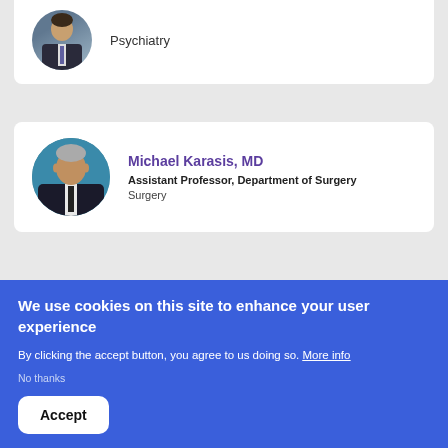[Figure (photo): Circular avatar photo of a male doctor in suit, Psychiatry department]
Psychiatry
[Figure (photo): Circular avatar photo of Michael Karasis MD, grey-haired male in suit]
Michael Karasis, MD
Assistant Professor, Department of Surgery
Surgery
[Figure (photo): Circular avatar photo of Debra Klamen MD MHPE, partially visible]
Debra Klamen, MD, MHPE
We use cookies on this site to enhance your user experience
By clicking the accept button, you agree to us doing so. More info
No thanks
Accept